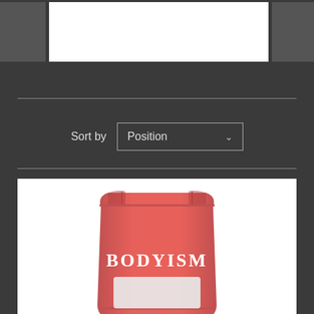[Figure (screenshot): Top banner area with gray blocks on left and right and white center block, on dark background]
Sort by   Position
[Figure (photo): Bodyism branded red/coral colored powder supplement pouch labeled BODYISM with YOUTH + GLO text partially visible at bottom]